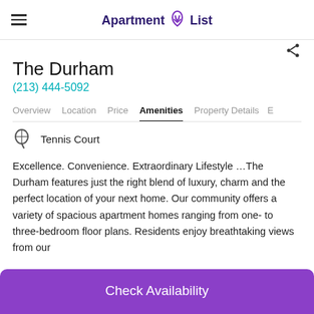Apartment List
The Durham
(213) 444-5092
Overview  Location  Price  Amenities  Property Details  E
Tennis Court
Excellence. Convenience. Extraordinary Lifestyle ...The Durham features just the right blend of luxury, charm and the perfect location of your next home. Our community offers a variety of spacious apartment homes ranging from one- to three-bedroom floor plans. Residents enjoy breathtaking views from our
Check Availability